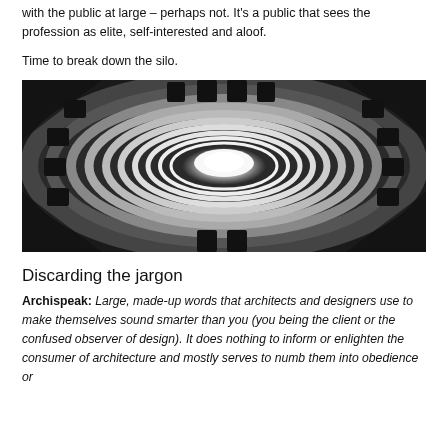with the public at large – perhaps not. It's a public that sees the profession as elite, self-interested and aloof.
Time to break down the silo.
[Figure (photo): Black and white looking-up view through a circular stone silo or tower with concentric rings of architecture and a bright light at the center top.]
Discarding the jargon
Archispeak: Large, made-up words that architects and designers use to make themselves sound smarter than you (you being the client or the confused observer of design). It does nothing to inform or enlighten the consumer of architecture and mostly serves to numb them into obedience or